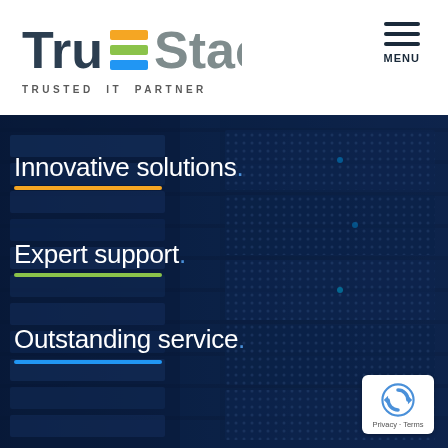[Figure (logo): TruStack logo with orange, green and blue horizontal bars replacing the letter 'u' in Tru, followed by 'Stack' in gray. Tagline: TRUSTED IT PARTNER]
MENU
[Figure (photo): Dark blue-tinted server rack background image]
Innovative solutions.
Expert support.
Outstanding service.
[Figure (other): Google reCAPTCHA badge with Privacy and Terms links]